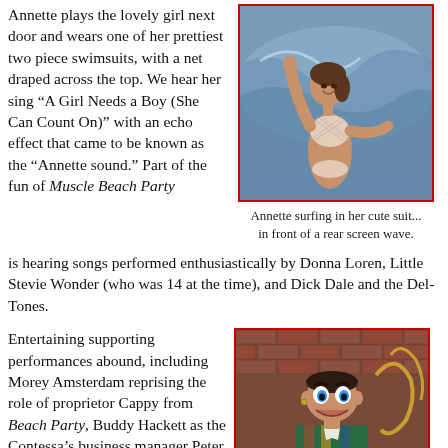Annette plays the lovely girl next door and wears one of her prettiest two piece swimsuits, with a net draped across the top. We hear her sing “A Girl Needs a Boy (She Can Count On)” with an echo effect that came to be known as the "Annette sound." Part of the fun of Muscle Beach Party is hearing songs performed enthusiastically by Donna Loren, Little Stevie Wonder (who was 14 at the time), and Dick Dale and the Del-Tones.
[Figure (photo): Annette Funicello surfing in a white net two-piece swimsuit with arms raised, in front of a rear screen projected ocean wave]
Annette surfing in her cute suit... in front of a rear screen wave.
Entertaining supporting performances abound, including Morey Amsterdam reprising the role of proprietor Cappy from Beach Party, Buddy Hackett as the Contessa’s business manager Peter T...